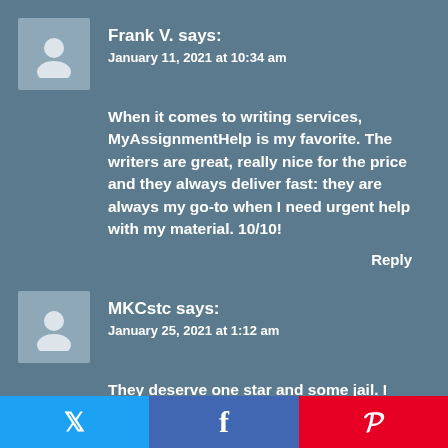Frank V. says:
January 11, 2021 at 10:34 am
When it comes to writing services, MyAssignmentHelp is my favorite. The writers are great, really nice for the price and they always deliver fast: they are always my go-to when I need urgent help with my material. 10/10!
Reply
MKCstc says:
January 25, 2021 at 1:12 am
They deserve one star and some jail. I have